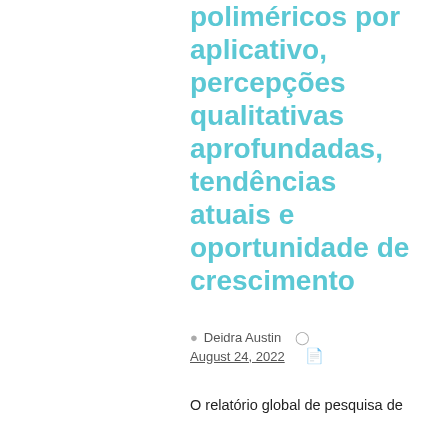poliméricos por aplicativo, percepções qualitativas aprofundadas, tendências atuais e oportunidade de crescimento
Deidra Austin  August 24, 2022
O relatório global de pesquisa de